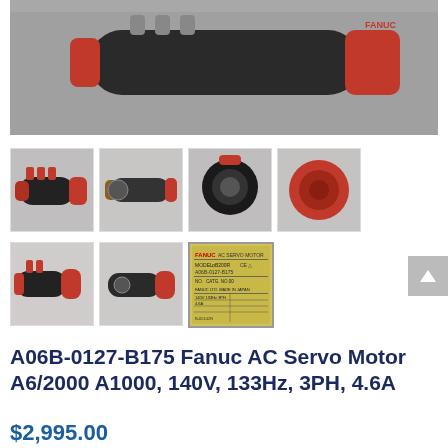[Figure (photo): Main large product photo of Fanuc AC Servo Motor, side view, partially cropped, dark red/black motor on grey background]
[Figure (photo): Thumbnail 1: Angled side view of Fanuc servo motor with red connectors]
[Figure (photo): Thumbnail 2: Horizontal side view of Fanuc servo motor, cylindrical body]
[Figure (photo): Thumbnail 3: Front/top angled view of Fanuc servo motor]
[Figure (photo): Thumbnail 4: Rear view of Fanuc servo motor showing red cap]
[Figure (photo): Thumbnail 5: Angled view of Fanuc servo motor, red connectors visible]
[Figure (photo): Thumbnail 6: Another angled view of Fanuc servo motor]
[Figure (photo): Thumbnail 7: Close-up of Fanuc nameplate/label showing model A06B-0127-B175]
A06B-0127-B175 Fanuc AC Servo Motor A6/2000 A1000, 140V, 133Hz, 3PH, 4.6A
$2,995.00